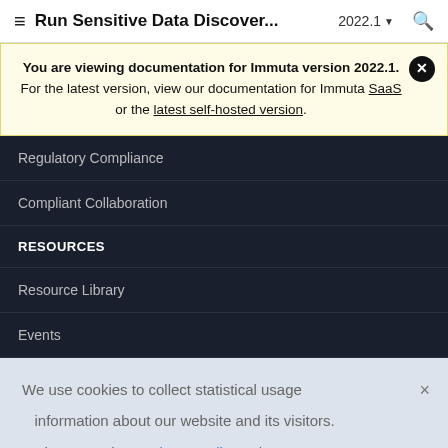Run Sensitive Data Discover... 2022.1
You are viewing documentation for Immuta version 2022.1.
For the latest version, view our documentation for Immuta SaaS or the latest self-hosted version.
Regulatory Compliance
Compliant Collaboration
RESOURCES
Resource Library
Events
We use cookies to collect statistical usage information about our website and its visitors. Please read our Privacy Policy to learn more.